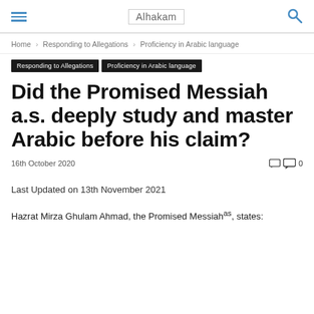Alhakam
Home › Responding to Allegations › Proficiency in Arabic language
Responding to Allegations   Proficiency in Arabic language
Did the Promised Messiah a.s. deeply study and master Arabic before his claim?
16th October 2020   0
Last Updated on 13th November 2021
Hazrat Mirza Ghulam Ahmad, the Promised Messiahas, states: